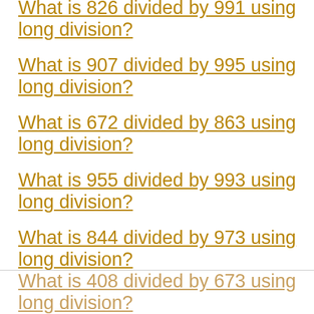What is 826 divided by 991 using long division?
What is 907 divided by 995 using long division?
What is 672 divided by 863 using long division?
What is 955 divided by 993 using long division?
What is 844 divided by 973 using long division?
What is 408 divided by 673 using long division?